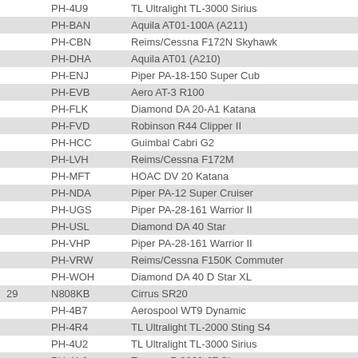|  | Registration | Aircraft Type |
| --- | --- | --- |
|  | PH-4U9 | TL Ultralight TL-3000 Sirius |
|  | PH-BAN | Aquila AT01-100A (A211) |
|  | PH-CBN | Reims/Cessna F172N Skyhawk |
|  | PH-DHA | Aquila AT01 (A210) |
|  | PH-ENJ | Piper PA-18-150 Super Cub |
|  | PH-EVB | Aero AT-3 R100 |
|  | PH-FLK | Diamond DA 20-A1 Katana |
|  | PH-FVD | Robinson R44 Clipper II |
|  | PH-HCC | Guimbal Cabri G2 |
|  | PH-LVH | Reims/Cessna F172M |
|  | PH-MFT | HOAC DV 20 Katana |
|  | PH-NDA | Piper PA-12 Super Cruiser |
|  | PH-UGS | Piper PA-28-161 Warrior II |
|  | PH-USL | Diamond DA 40 Star |
|  | PH-VHP | Piper PA-28-161 Warrior II |
|  | PH-VRW | Reims/Cessna F150K Commuter |
|  | PH-WOH | Diamond DA 40 D Star XL |
| 29 | N808KB | Cirrus SR20 |
|  | PH-4B7 | Aerospool WT9 Dynamic |
|  | PH-4R4 | TL Ultralight TL-2000 Sting S4 |
|  | PH-4U2 | TL Ultralight TL-3000 Sirius |
|  | PH-ALJ | Tecnam P 2000-JF Sierra |
|  | PH-DAI | Diamond DA 40 D Star |
|  | PH-DHA | Aquila AT01 (A210) |
|  | PH-DHB | Aquila AT01 (A210) |
|  | PH-DRT | Piper PA-28-181 Archer II |
|  | PH-EGM | Diamond DA 40 NG Star |
|  | PH-KTM | Robinson R44 Raven II |